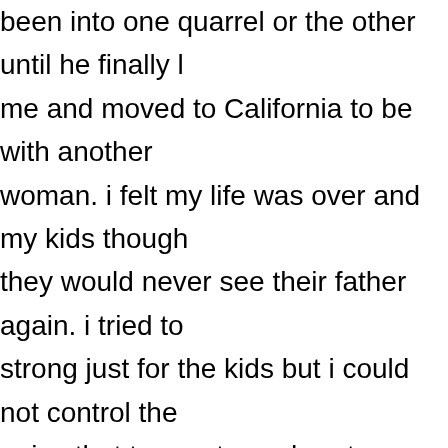After 12 years of marriage, me and my husband have been into one quarrel or the other until he finally left me and moved to California to be with another woman. i felt my life was over and my kids thought they would never see their father again. i tried to be strong just for the kids but i could not control the pains that torments my heart, my heart was filled with sorrows and pains because i was really in love with my husband. Every day and night i think of him and always wish he would come back to me, I was really upset and i needed help, so i searched for help online and I came across a website that suggested that Dr Unity can help get ex back fast. So, I felt I should give him a try.
I contacted him and he told me what to do and i d